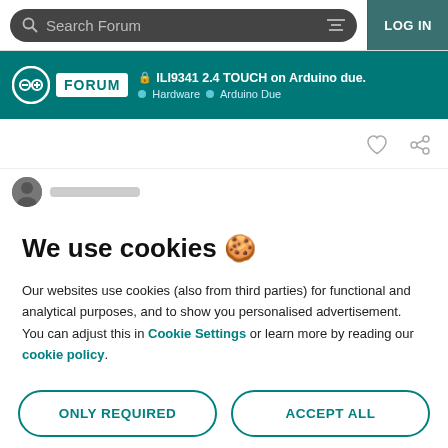Search Forum | LOG IN
ILI9341 2.4 TOUCH on Arduino due. | Hardware | Arduino Due
We use cookies 🍪
Our websites use cookies (also from third parties) for functional and analytical purposes, and to show you personalised advertisement. You can adjust this in Cookie Settings or learn more by reading our cookie policy.
ONLY REQUIRED
ACCEPT ALL